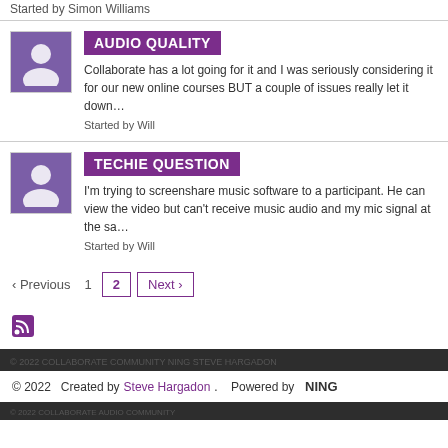Started by Simon Williams
AUDIO QUALITY
Collaborate has a lot going for it and I was seriously considering it for our new online courses BUT a couple of issues really let it down…
Started by Will
TECHIE QUESTION
I'm trying to screenshare music software to a participant. He can view the video but can't receive music audio and my mic signal at the sa…
Started by Will
‹ Previous   1   2   Next ›
[Figure (other): RSS feed icon in purple]
© 2022   Created by Steve Hargadon.   Powered by NING